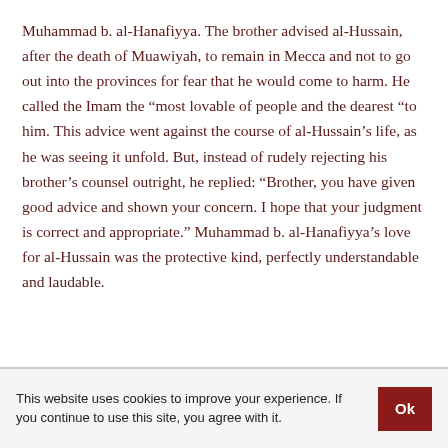Muhammad b. al-Hanafiyya. The brother advised al-Hussain, after the death of Muawiyah, to remain in Mecca and not to go out into the provinces for fear that he would come to harm. He called the Imam the “most lovable of people and the dearest “to him. This advice went against the course of al-Hussain’s life, as he was seeing it unfold. But, instead of rudely rejecting his brother’s counsel outright, he replied: “Brother, you have given good advice and shown your concern. I hope that your judgment is correct and appropriate.” Muhammad b. al-Hanafiyya’s love for al-Hussain was the protective kind, perfectly understandable and laudable.
This website uses cookies to improve your experience. If you continue to use this site, you agree with it.